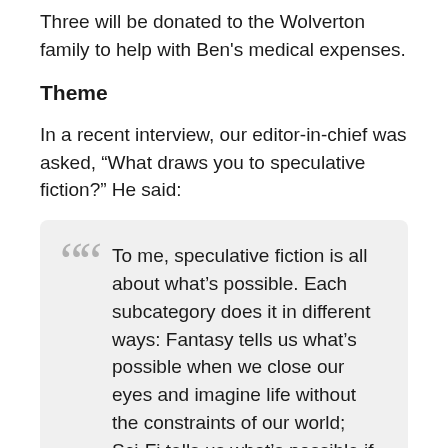Three will be donated to the Wolverton family to help with Ben's medical expenses.
Theme
In a recent interview, our editor-in-chief was asked, “What draws you to speculative fiction?” He said:
To me, speculative fiction is all about what’s possible. Each subcategory does it in different ways: Fantasy tells us what’s possible when we close our eyes and imagine life without the constraints of our world; Sci-Fi tells us what’s possible if we continue exploring the amazing science of technology we already have; Steampunk tells us what’s possible with human ingenuity-it’s not based on electricity as is our city…